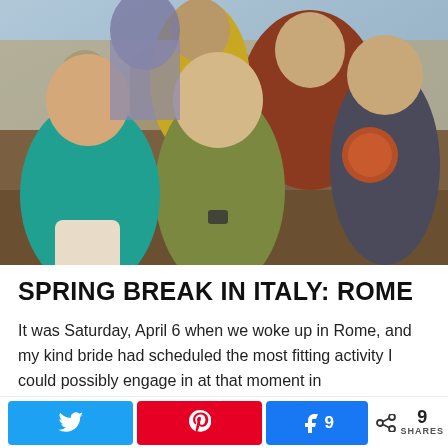[Figure (photo): Family group photo at the Colosseum in Rome, Italy. Three children in foreground — a girl in teal top, a boy in olive t-shirt, and a teen in gray hoodie. Adults visible behind them. Stone and brick architecture of the Colosseum visible in background.]
SPRING BREAK IN ITALY: ROME
It was Saturday, April 6 when we woke up in Rome, and my kind bride had scheduled the most fitting activity I could possibly engage in at that moment in
9 SHARES (Twitter share button, Pinterest share button, Facebook share button with count 9, share count icon showing 9 SHARES)